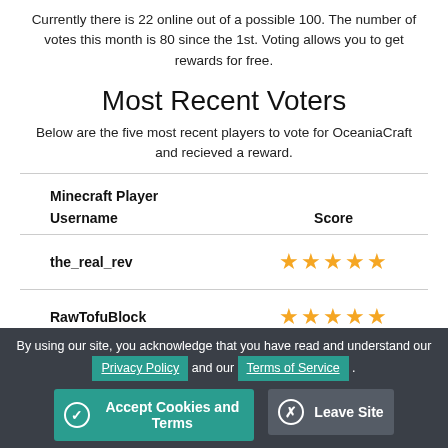Currently there is 22 online out of a possible 100. The number of votes this month is 80 since the 1st. Voting allows you to get rewards for free.
Most Recent Voters
Below are the five most recent players to vote for OceaniaCraft and recieved a reward.
| Minecraft Player Username | Score |
| --- | --- |
| the_real_rev | ★★★★★ |
| RawTofuBlock | ★★★★★ |
By using our site, you acknowledge that you have read and understand our Privacy Policy and our Terms of Service.